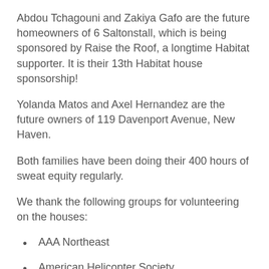Abdou Tchagouni and Zakiya Gafo are the future homeowners of 6 Saltonstall, which is being sponsored by Raise the Roof, a longtime Habitat supporter. It is their 13th Habitat house sponsorship!
Yolanda Matos and Axel Hernandez are the future owners of 119 Davenport Avenue, New Haven.
Both families have been doing their 400 hours of sweat equity regularly.
We thank the following groups for volunteering on the houses:
AAA Northeast
American Helicopter Society
Andriole Group
Bank of America